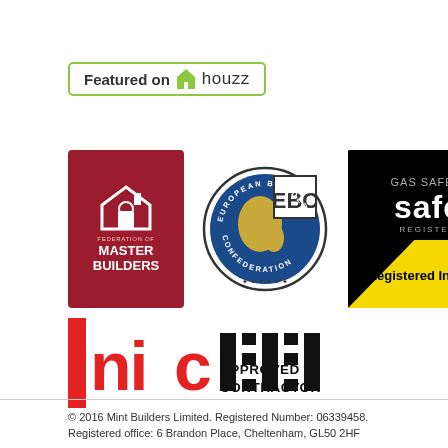[Figure (logo): Featured on Houzz badge with green border and Houzz logo]
[Figure (logo): Federation of Master Builders logo - dark red background with house icon]
[Figure (logo): European Builders Confederation (EBC) circular logo]
[Figure (logo): Gas Safe Register Registered Installer logo - black and yellow]
[Figure (logo): NICEIC EIC Approved Contractor logo in red and black]
© 2016 Mint Builders Limited. Registered Number: 06339458.
Registered office: 6 Brandon Place, Cheltenham, GL50 2HF